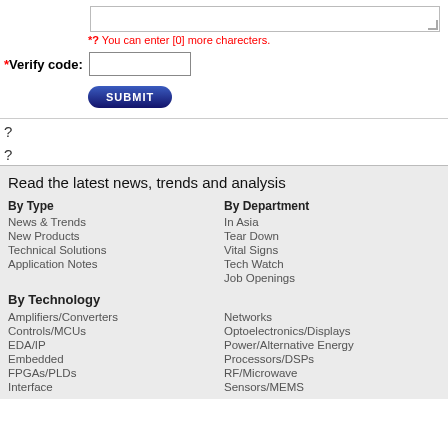[Figure (screenshot): A web form fragment showing a textarea with resize handle, a red warning message, a verify code label with input, and a Submit button]
*? You can enter [0] more charecters.
*Verify code:
?
?
Read the latest news, trends and analysis
By Type
News & Trends
New Products
Technical Solutions
Application Notes
By Department
In Asia
Tear Down
Vital Signs
Tech Watch
Job Openings
By Technology
Amplifiers/Converters
Controls/MCUs
EDA/IP
Embedded
FPGAs/PLDs
Interface
Networks
Optoelectronics/Displays
Power/Alternative Energy
Processors/DSPs
RF/Microwave
Sensors/MEMS